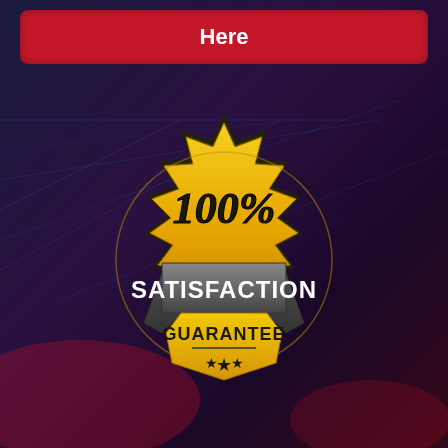[Figure (illustration): Dark background with gradient from dark navy/blue-purple to dark purple/maroon, with subtle grid/circuit line patterns in lighter blue tones]
Here
[Figure (illustration): 100% Satisfaction Guarantee badge/seal. A gold starburst/notched badge shape with black outline. Text '100%' in italic black on gold area. A grey ribbon banner across the middle with 'SATISFACTION' in large white bold text. Lower gold area with 'GUARANTEE' in bold dark text, a horizontal line, and three stars below.]